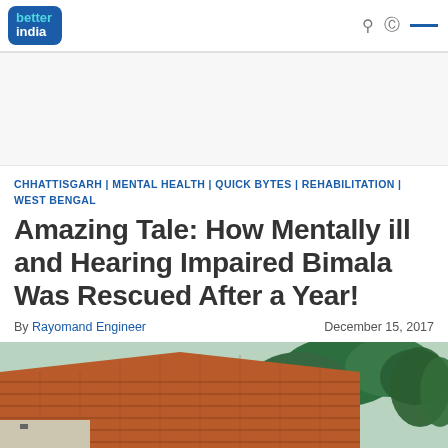better india
CHHATTISGARH | MENTAL HEALTH | QUICK BYTES | REHABILITATION | WEST BENGAL
Amazing Tale: How Mentally ill and Hearing Impaired Bimala Was Rescued After a Year!
By Rayomand Engineer    December 15, 2017
[Figure (photo): Exterior of a building with a tiled roof and trees in the background]